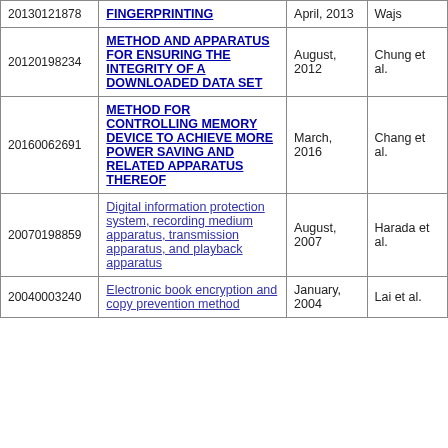| Patent Number | Title | Date | Inventor(s) |
| --- | --- | --- | --- |
| 20130121878 (partial) | FINGERPRINTING (partial) | April, 2013 | Wajs |
| 20120198234 | METHOD AND APPARATUS FOR ENSURING THE INTEGRITY OF A DOWNLOADED DATA SET | August, 2012 | Chung et al. |
| 20160062691 | METHOD FOR CONTROLLING MEMORY DEVICE TO ACHIEVE MORE POWER SAVING AND RELATED APPARATUS THEREOF | March, 2016 | Chang et al. |
| 20070198859 | Digital information protection system, recording medium apparatus, transmission apparatus, and playback apparatus | August, 2007 | Harada et al. |
| 20040003240 | Electronic book encryption and copy prevention method | January, 2004 | Lai et al. |